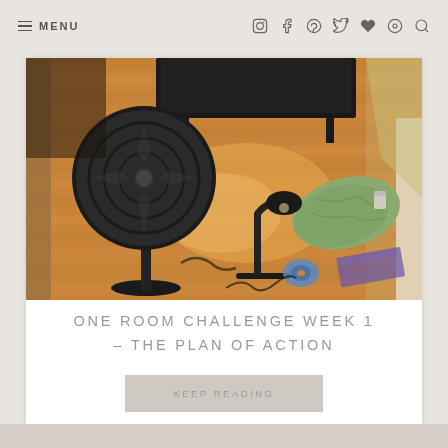≡ MENU
[Figure (photo): A room with hardwood floors in disarray. A black electric fan stands on the left, a small desk lamp sits in the middle, and a green cloth/mat lies on the right side near the wall. Various items are scattered on the floor including tape and other objects. A dark furniture piece is visible in the background.]
ONE ROOM CHALLENGE WEEK 1 – THE PLAN OF ACTION
KEEP READING